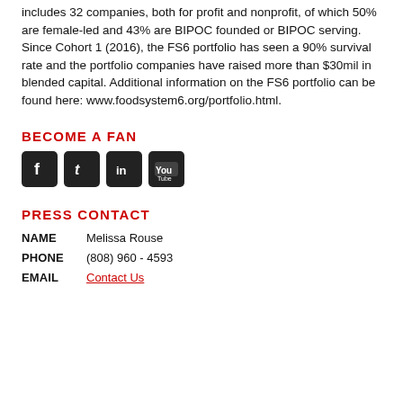includes 32 companies, both for profit and nonprofit, of which 50% are female-led and 43% are BIPOC founded or BIPOC serving. Since Cohort 1 (2016), the FS6 portfolio has seen a 90% survival rate and the portfolio companies have raised more than $30mil in blended capital. Additional information on the FS6 portfolio can be found here: www.foodsystem6.org/portfolio.html.
BECOME A FAN
[Figure (infographic): Four social media icon buttons: Facebook (f), Twitter (t), LinkedIn (in), YouTube (play button icon), all with dark square backgrounds.]
PRESS CONTACT
NAME    Melissa Rouse
PHONE   (808) 960 - 4593
EMAIL   Contact Us